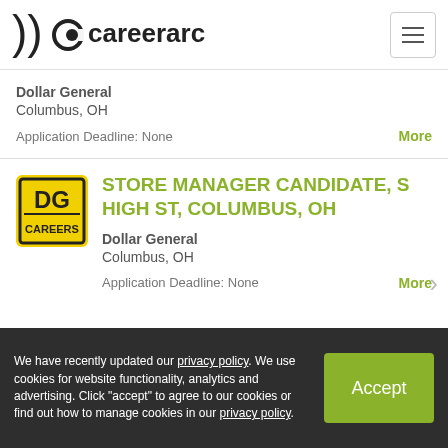careerarc
Dollar General
Columbus, OH
Application Deadline: None
More
STORE MANAGER CANDIDATE, S HIGH ST, COLUMBUS, OH
Dollar General
Columbus, OH
Application Deadline: None
More
STORE MANAGER CANDIDATE, MORSE RD,
We have recently updated our privacy policy. We use cookies for website functionality, analytics and advertising. Click "accept" to agree to our cookies or find out how to manage cookies in our privacy policy.